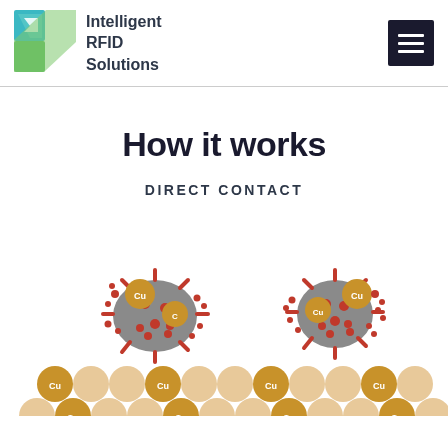[Figure (logo): Intelligent RFID Solutions logo with teal and green gradient shield/arrow icon]
Intelligent RFID Solutions
How it works
DIRECT CONTACT
[Figure (illustration): Illustration showing virus particles (with copper Cu nanoparticles attached) above a surface of copper and beige circular particles representing antimicrobial copper contact mechanism]